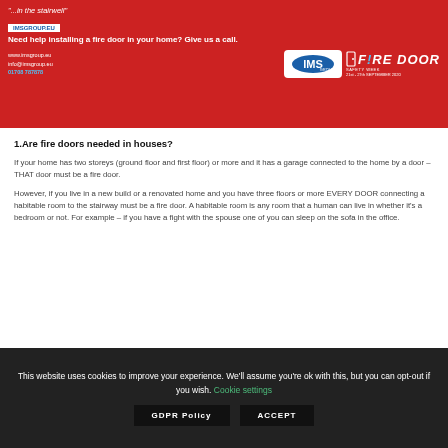[Figure (logo): IMS Group red banner advertisement for Fire Door Safety Week, with tagline 'Need help installing a fire door in your home? Give us a call.' Contact details and IMS Group / Fire Door Safety Week logos.]
1.Are fire doors needed in houses?
If your home has two storeys (ground floor and first floor) or more and it has a garage connected to the home by a door – THAT door must be a fire door.
However, if you live in a new build or a renovated home and you have three floors or more EVERY DOOR connecting a habitable room to the stairway must be a fire door. A habitable room is any room that a human can live in whether it's a bedroom or not. For example – if you have a fight with the spouse one of you can sleep on the sofa in the office.
[Figure (infographic): Teal/green banner with white chevron/house icon, with left grey accent and right yellow accent bar.]
This website uses cookies to improve your experience. We'll assume you're ok with this, but you can opt-out if you wish. Cookie settings
GDPR Policy   ACCEPT